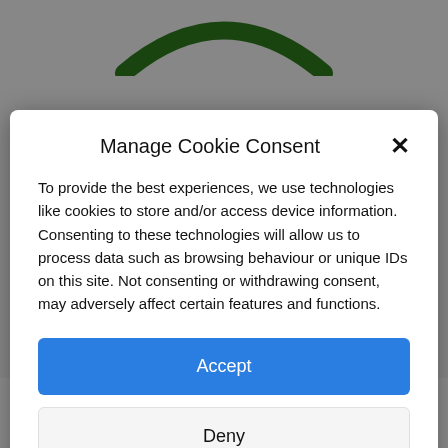[Figure (logo): Green arc/rainbow logo at top of website page, partially visible behind modal]
Manage Cookie Consent
To provide the best experiences, we use technologies like cookies to store and/or access device information. Consenting to these technologies will allow us to process data such as browsing behaviour or unique IDs on this site. Not consenting or withdrawing consent, may adversely affect certain features and functions.
Accept
Deny
View preferences
Cookie Policy   Privacy & Cookie Policy, Terms of Use
Fundraising News: